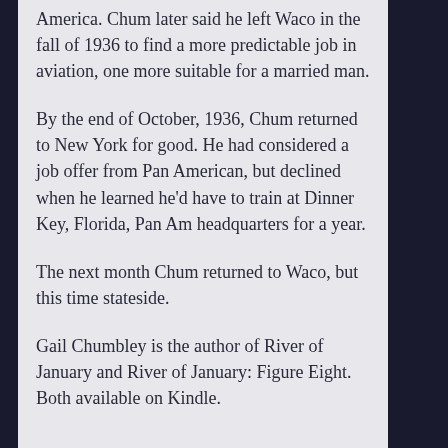America. Chum later said he left Waco in the fall of 1936 to find a more predictable job in aviation, one more suitable for a married man.
By the end of October, 1936, Chum returned to New York for good. He had considered a job offer from Pan American, but declined when he learned he'd have to train at Dinner Key, Florida, Pan Am headquarters for a year.
The next month Chum returned to Waco, but this time stateside.
Gail Chumbley is the author of River of January and River of January: Figure Eight. Both available on Kindle.